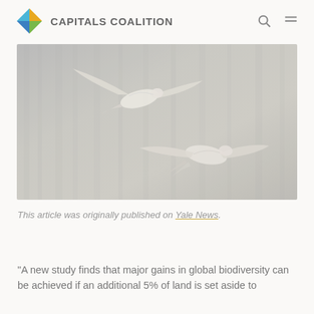CAPITALS COALITION
[Figure (photo): Two white birds in flight against a misty grey background, photographed in soft focus. The upper bird appears higher and to the left, the lower bird is below and to the right, both with wings outstretched.]
This article was originally published on Yale News.
"A new study finds that major gains in global biodiversity can be achieved if an additional 5% of land is set aside to